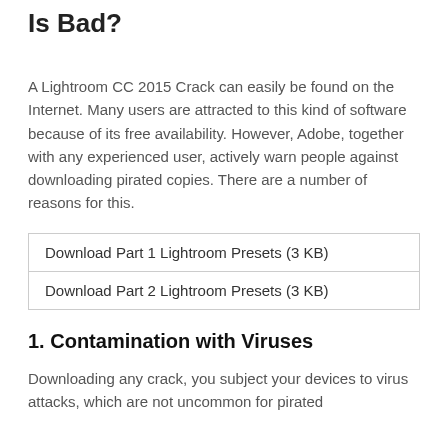Is Bad?
A Lightroom CC 2015 Crack can easily be found on the Internet. Many users are attracted to this kind of software because of its free availability. However, Adobe, together with any experienced user, actively warn people against downloading pirated copies. There are a number of reasons for this.
| Download Part 1 Lightroom Presets (3 KB) |
| Download Part 2 Lightroom Presets (3 KB) |
1. Contamination with Viruses
Downloading any crack, you subject your devices to virus attacks, which are not uncommon for pirated